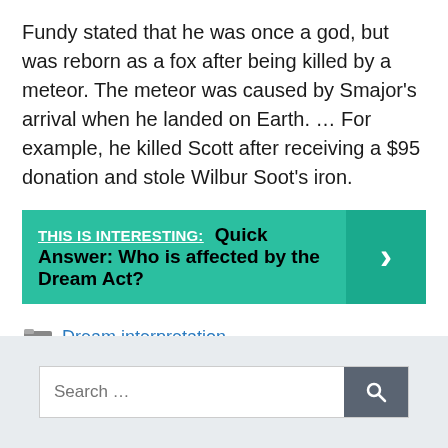Fundy stated that he was once a god, but was reborn as a fox after being killed by a meteor. The meteor was caused by Smajor's arrival when he landed on Earth. … For example, he killed Scott after receiving a $95 donation and stole Wilbur Soot's iron.
[Figure (infographic): Teal banner reading 'THIS IS INTERESTING: Quick Answer: Who is affected by the Dream Act?' with a right-arrow chevron on the right side in a darker teal box.]
Dream interpretation
Search ...